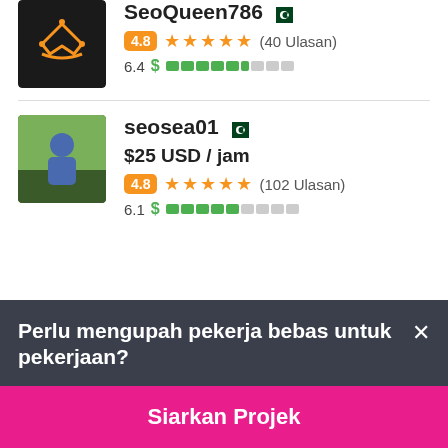SeoQueen786 🇵🇰 | 4.8 ★★★★★ (40 Ulasan) | 6.4 $
seosea01 🇵🇰 | $25 USD / jam | 4.8 ★★★★★ (102 Ulasan) | 6.1 $
Perlu mengupah pekerja bebas untuk pekerjaan?
Siarkan Projek